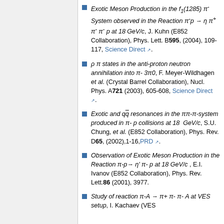Exotic Meson Production in the f1(1285) π- System observed in the Reaction π-p → η π+ π- π- p at 18 GeV/c, J. Kuhn (E852 Collaboration), Phys. Lett. B595, (2004), 109-117, Science Direct.
ρ π states in the anti-proton neutron annihilation into π- 3π0, F. Meyer-Wildhagen et al. (Crystal Barrel Collaboration), Nucl. Phys. A721 (2003), 605-608, Science Direct.
Exotic and qq̄ resonances in the ππ-π-system produced in π- p collisions at 18 GeV/c, S.U. Chung, et al. (E852 Collaboration), Phys. Rev. D65, (2002),1-16, PRD.
Observation of Exotic Meson Production in the Reaction π-p→ η' π- p at 18 GeV/c, E.I. Ivanov (E852 Collaboration), Phys. Rev. Lett.86 (2001), 3977.
Study of reaction π-A → π+ π- π- A at VES setup, I. Kachaev (VES